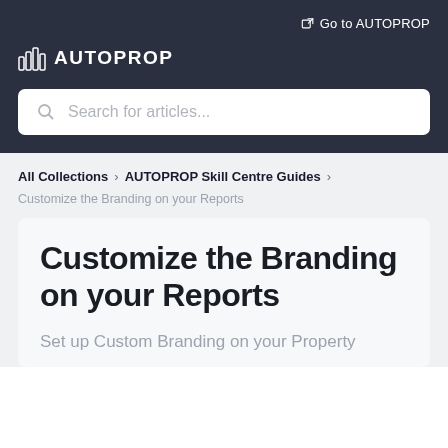Go to AUTOPROP
AUTOPROP
Search for articles...
All Collections > AUTOPROP Skill Centre Guides >
Customize the Branding on your Reports
Customize the Branding on your Reports
Set up Custom Branding on your Property